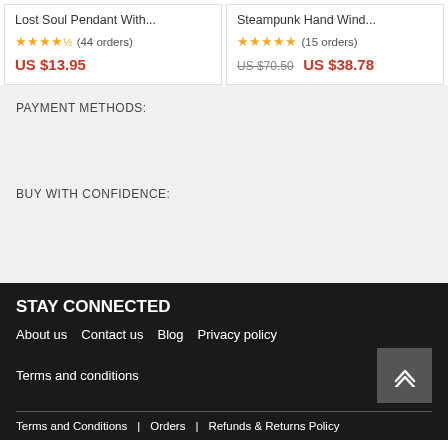Lost Soul Pendant With... ★★★★½ (44 orders) US $13.95
Steampunk Hand Wind... ★★★★★ (15 orders) US $70.50 US $38.78
PAYMENT METHODS:
BUY WITH CONFIDENCE:
STAY CONNECTED
About us   Contact us   Blog   Privacy policy
Terms and conditions
Terms and Conditions   Orders   Refunds & Returns Policy